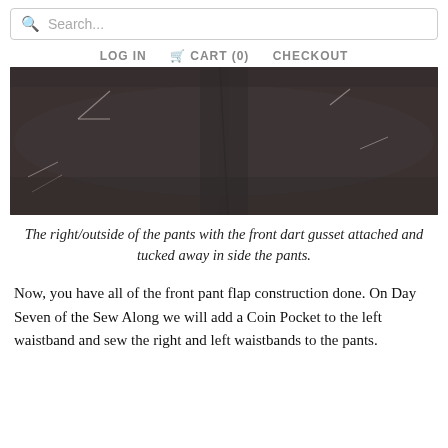Search...
LOG IN   CART (0)   CHECKOUT
[Figure (photo): Dark brown/charcoal fabric of pants showing the right/outside with a front dart gusset attached and tucked inside, with visible sewing pins and stitch lines on the fabric.]
The right/outside of the pants with the front dart gusset attached and tucked away in side the pants.
Now, you have all of the front pant flap construction done. On Day Seven of the Sew Along we will add a Coin Pocket to the left waistband and sew the right and left waistbands to the pants.